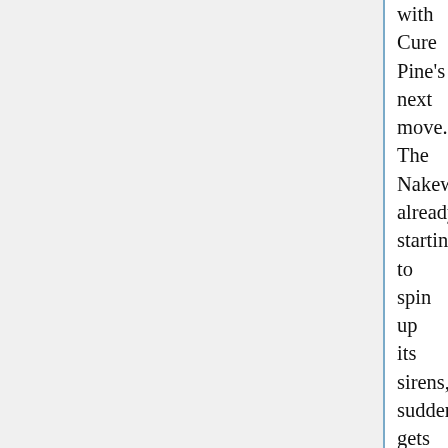with Cure Pine's next move. The Nakewameke, already starting to spin up its sirens, suddenly gets a light bulb in its... own light bulb.
It looks very nearly /offended/ as it tuuurns towards her and /charges/ straight for the nearest building past her--aiming to crush her outright!!
The other three finally converge, one-horned Zakenna charging headfirst while Akanbe swings its broom and Negatone just leaps /up/...
To cake-flop right onto the Cures!!
The ground is already rumbling again..!
COMBAT: Eas has used Mighty Sma
COMBAT: Eas has used Gangrush o
COMBAT: Eas has used Gangrush o
COMBAT: Eas has used Gangrush o
COMBAT: Eas has used Gangrush o